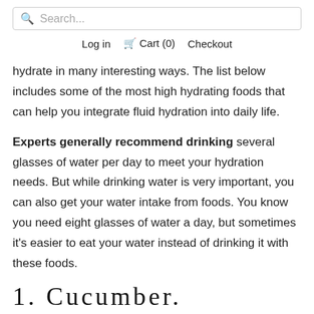Search...  Log in  Cart (0)  Checkout
hydrate in many interesting ways. The list below includes some of the most high hydrating foods that can help you integrate fluid hydration into daily life.
Experts generally recommend drinking several glasses of water per day to meet your hydration needs. But while drinking water is very important, you can also get your water intake from foods. You know you need eight glasses of water a day, but sometimes it's easier to eat your water instead of drinking it with these foods.
1. Cucumber.